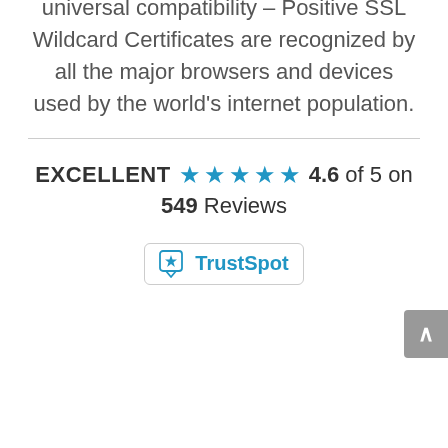universal compatibility – Positive SSL Wildcard Certificates are recognized by all the major browsers and devices used by the world's internet population.
[Figure (other): TrustSpot rating widget showing EXCELLENT with 5 blue stars, 4.6 of 5 on 549 Reviews, with TrustSpot logo badge]